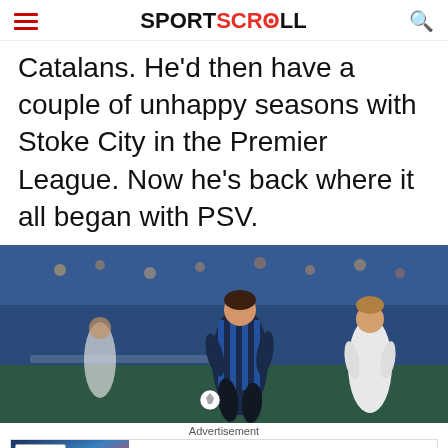SPORTSCROLL
Catalans. He'd then have a couple of unhappy seasons with Stoke City in the Premier League. Now he's back where it all began with PSV.
[Figure (photo): Soccer match photo showing player in blue and black striped jersey running with ball, challenged by player in white jersey, stadium crowd in background]
Advertisement
Ad  BitLife - Life Simulator  Install!